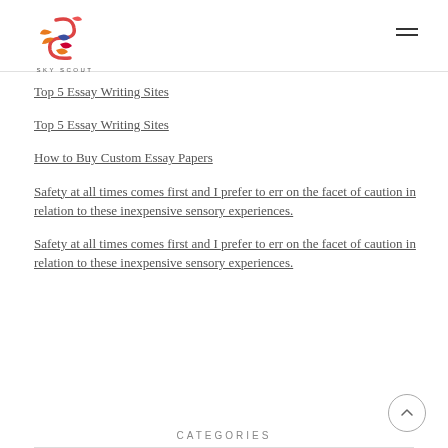SKY SCOUT
Top 5 Essay Writing Sites
Top 5 Essay Writing Sites
How to Buy Custom Essay Papers
Safety at all times comes first and I prefer to err on the facet of caution in relation to these inexpensive sensory experiences.
Safety at all times comes first and I prefer to err on the facet of caution in relation to these inexpensive sensory experiences.
CATEGORIES